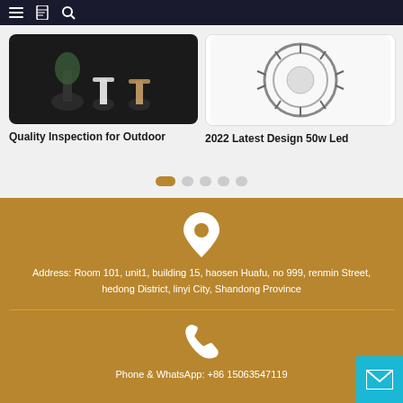Navigation bar with menu, bookmark, and search icons
[Figure (photo): Product card showing outdoor decorative lights/plants on dark background]
Quality Inspection for Outdoor
[Figure (photo): Product card showing 2022 Latest Design 50w Led light fixture on white background]
2022 Latest Design 50w Led
[Figure (other): Carousel pagination dots, first dot active (brown), four inactive (grey)]
[Figure (infographic): Location pin icon in white on brown/golden background]
Address: Room 101, unit1, building 15, haosen Huafu, no 999, renmin Street, hedong District, linyi City, Shandong Province
[Figure (infographic): Phone handset icon in white on brown/golden background]
Phone & WhatsApp: +86 15063547119
[Figure (infographic): Email envelope icon on cyan/teal button at bottom right corner]